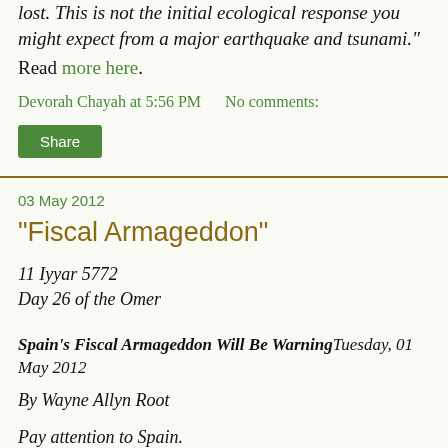lost. This is not the initial ecological response you might expect from a major earthquake and tsunami."
Read more here.
Devorah Chayah at 5:56 PM   No comments:
Share
03 May 2012
"Fiscal Armageddon"
11 Iyyar 5772
Day 26 of the Omer
Spain's Fiscal Armageddon Will Be Warning Tuesday, 01 May 2012
By Wayne Allyn Root
Pay attention to Spain.